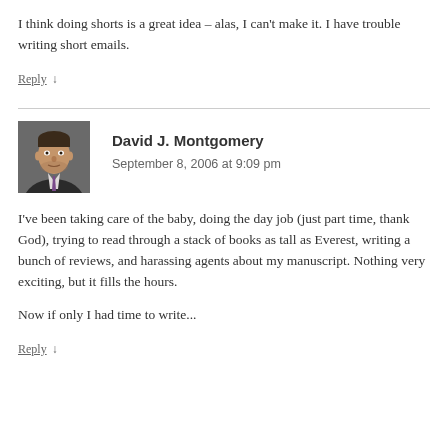I think doing shorts is a great idea – alas, I can't make it. I have trouble writing short emails.
Reply ↓
[Figure (photo): Avatar photo of David J. Montgomery, a man in a dark suit jacket]
David J. Montgomery
September 8, 2006 at 9:09 pm
I've been taking care of the baby, doing the day job (just part time, thank God), trying to read through a stack of books as tall as Everest, writing a bunch of reviews, and harassing agents about my manuscript. Nothing very exciting, but it fills the hours.
Now if only I had time to write...
Reply ↓